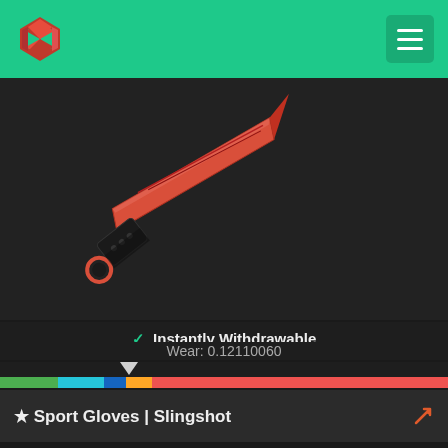[Figure (screenshot): Website header with green background, red diamond gem logo on the left, and a hamburger menu icon button in the top right corner]
[Figure (photo): CS:GO knife skin - Sport Gloves Slingshot, a red knife with black handle on dark background]
✓ Instantly Withdrawable
Wear: 0.12110060
[Figure (infographic): Wear quality bar showing gradient from green/teal/blue (Factory New end) through orange to red (Battle-Scarred end) with chevron pointer at approximately 12% position]
★ Sport Gloves | Slingshot
Field-Tested / Extraordinary Gloves / 468
$929.99
Suggested Price: $718.20